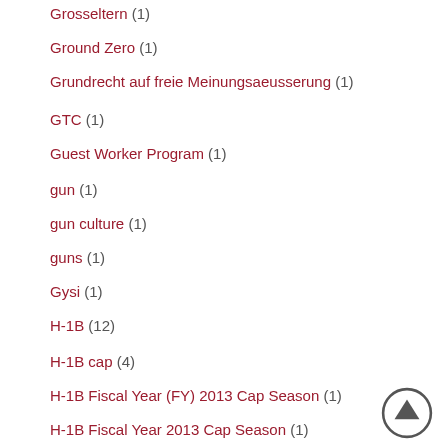Grosseltern (1)
Ground Zero (1)
Grundrecht auf freie Meinungsaeusserung (1)
GTC (1)
Guest Worker Program (1)
gun (1)
gun culture (1)
guns (1)
Gysi (1)
H-1B (12)
H-1B cap (4)
H-1B Fiscal Year (FY) 2013 Cap Season (1)
H-1B Fiscal Year 2013 Cap Season (1)